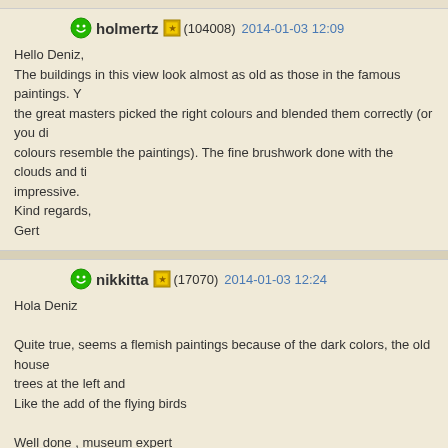holmertz (104008) 2014-01-03 12:09
Hello Deniz,
The buildings in this view look almost as old as those in the famous paintings. Y the great masters picked the right colours and blended them correctly (or you di colours resemble the paintings). The fine brushwork done with the clouds and ti impressive.
Kind regards,
Gert
nikkitta (17070) 2014-01-03 12:24
Hola Deniz

Quite true, seems a flemish paintings because of the dark colors, the old house trees at the left and
Like the add of the flying birds

Well done , museum expert
Maria
mesutilgim (0) 2014-01-03 12:33